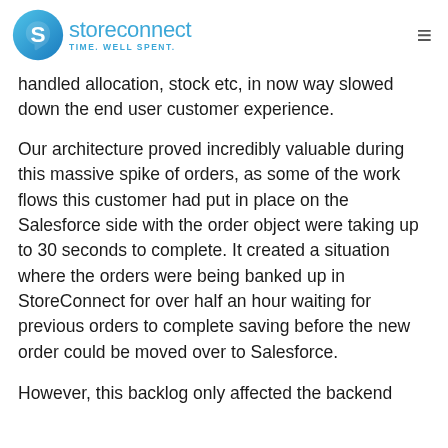storeconnect TIME. WELL SPENT.
handled allocation, stock etc, in now way slowed down the end user customer experience.
Our architecture proved incredibly valuable during this massive spike of orders, as some of the work flows this customer had put in place on the Salesforce side with the order object were taking up to 30 seconds to complete. It created a situation where the orders were being banked up in StoreConnect for over half an hour waiting for previous orders to complete saving before the new order could be moved over to Salesforce.
However, this backlog only affected the backend